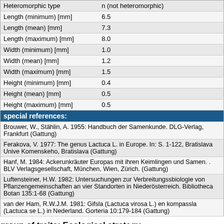| Property | Value |
| --- | --- |
| Heteromorphic type | n (not heteromorphic) |
| Length (minimum) [mm] | 6.5 |
| Length (mean) [mm] | 7.3 |
| Length (maximum) [mm] | 8.0 |
| Width (minimum) [mm] | 1.0 |
| Width (mean) [mm] | 1.2 |
| Width (maximum) [mm] | 1.5 |
| Height (minimum) [mm] | 0.4 |
| Height (mean) [mm] | 0.5 |
| Height (maximum) [mm] | 0.5 |
special references:
| References |
| --- |
| Brouwer, W., Stählin, A. 1955: Handbuch der Samenkunde. DLG-Verlag, Frankfurt (Gattung) |
| Ferakova, V. 1977: The genus Lactuca L. in Europe. In: S. 1-122, Bratislava Unive Komenskeho, Bratislava (Gattung) |
| Hanf, M. 1984: Ackerunkräuter Europas mit ihren Keimlingen und Samen. . BLV Verlagsgesellschaft, München, Wien, Zürich. (Gattung) |
| Luftensteiner, H.W. 1982: Untersuchungen zur Verbreitungssbiologie von Pflanzengemeinschaften an vier Standorten in Niederösterreich. Bibliotheca Botan 135:1-68 (Gattung) |
| van der Ham, R.W.J.M. 1981: Gifsla (Lactuca virosa L.) en kompassla (Lactuca se L.) in Nederland. Gorteria 10:179-184 (Gattung) |
group of traits: Ecological strategy »
Strategy type »
| Property | Value |
| --- | --- |
| Strategy type | c (competitors) |
group of traits: Range »